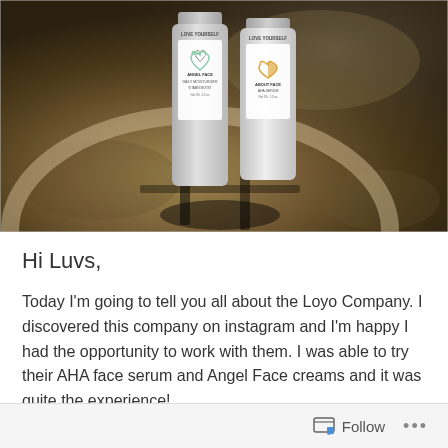[Figure (photo): Two Loyo Company skincare product bottles (Angel Face moisturizer and About Face AHA serum) standing on a stone/concrete surface with a circular engraved pattern and shadows visible]
Hi Luvs,
Today I'm going to tell you all about the Loyo Company. I discovered this company on instagram and I'm happy I had the opportunity to work with them. I was able to try their AHA face serum and Angel Face creams and it was quite the experience!
Follow ···